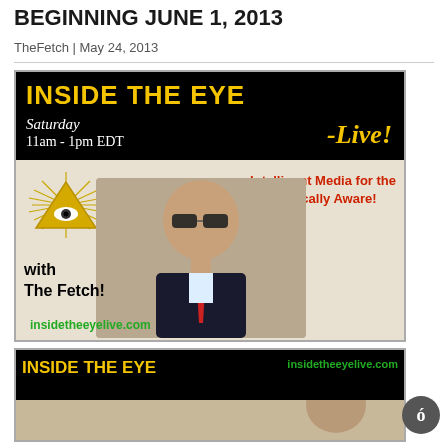BEGINNING JUNE 1, 2013
TheFetch | May 24, 2013
[Figure (illustration): Inside The Eye Live promotional banner. Black top section with yellow bold text 'INSIDE THE EYE', white italic text 'Saturday 11am - 1pm EDT', yellow italic '-Live!' text. Bottom section shows a man in a suit and sunglasses with a red tie, an all-seeing eye / illuminati pyramid symbol on the left, red text 'Intelligent Media for the Politically Aware!', black bold text 'with The Fetch!', green url text 'insidetheeyelive.com']
[Figure (illustration): Partial second Inside The Eye banner showing yellow 'INSIDE THE EYE' text on black background and green insidetheeyelive.com URL, with partial photo of person below.]